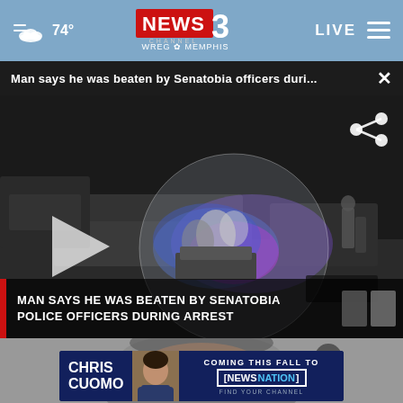74° | NEWS CHANNEL 3 WREG MEMPHIS | LIVE
Man says he was beaten by Senatobia officers duri... ×
[Figure (screenshot): Video screenshot showing police officers and a vehicle during an arrest, with flashing police lights. Includes play button overlay and lower-third text: MAN SAYS HE WAS BEATEN BY SENATOBIA POLICE OFFICERS DURING ARREST]
[Figure (screenshot): Advertisement banner for Chris Cuomo coming to NewsNation this fall]